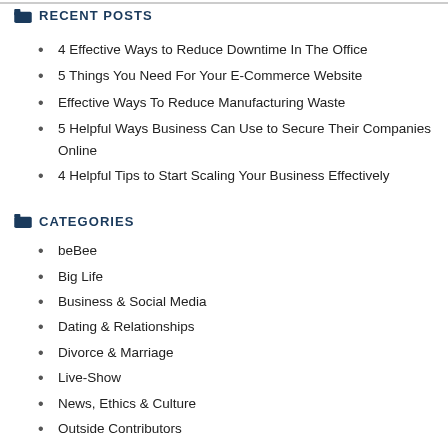RECENT POSTS
4 Effective Ways to Reduce Downtime In The Office
5 Things You Need For Your E-Commerce Website
Effective Ways To Reduce Manufacturing Waste
5 Helpful Ways Business Can Use to Secure Their Companies Online
4 Helpful Tips to Start Scaling Your Business Effectively
CATEGORIES
beBee
Big Life
Business & Social Media
Dating & Relationships
Divorce & Marriage
Live-Show
News, Ethics & Culture
Outside Contributors
Parenting & Fatherhood
Photography
Podcasts
Product Reviews
Technology